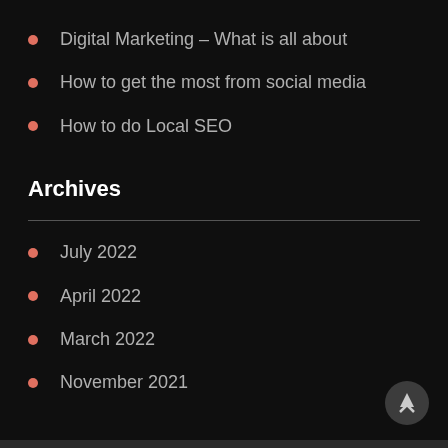Digital Marketing – What is all about
How to get the most from social media
How to do Local SEO
Archives
July 2022
April 2022
March 2022
November 2021